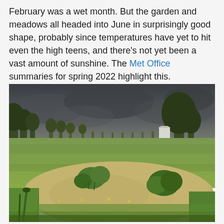February was a wet month. But the garden and meadows all headed into June in surprisingly good shape, probably since temperatures have yet to hit even the high teens, and there's not yet been a vast amount of sunshine. The Met Office summaries for spring 2022 highlight this.
[Figure (photo): Outdoor landscape photo showing a meadow with green grass, a raised mound of sandy soil with plants growing on it in the foreground, trees lining the background, and a dramatic dark stormy sky overhead.]